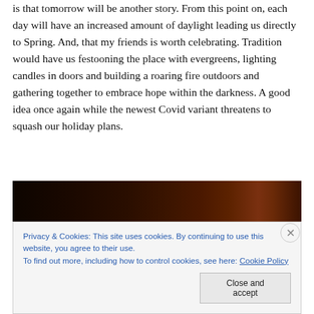is that tomorrow will be another story. From this point on, each day will have an increased amount of daylight leading us directly to Spring. And, that my friends is worth celebrating. Tradition would have us festooning the place with evergreens, lighting candles in doors and building a roaring fire outdoors and gathering together to embrace hope within the darkness. A good idea once again while the newest Covid variant threatens to squash our holiday plans.
[Figure (photo): Dark atmospheric photo strip showing what appears to be a dimly lit scene with warm brown/amber tones, largely obscured in darkness]
Privacy & Cookies: This site uses cookies. By continuing to use this website, you agree to their use.
To find out more, including how to control cookies, see here: Cookie Policy
Close and accept